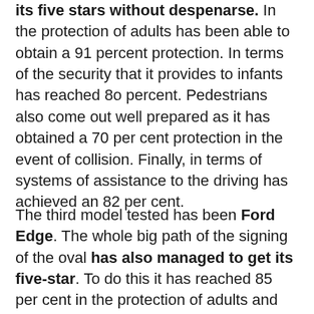its five stars without despenarse. In the protection of adults has been able to obtain a 91 percent protection. In terms of the security that it provides to infants has reached 80 percent. Pedestrians also come out well prepared as it has obtained a 70 per cent protection in the event of collision. Finally, in terms of systems of assistance to the driving has achieved an 82 per cent.
The third model tested has been Ford Edge. The whole big path of the signing of the oval has also managed to get its five-star. To do this it has reached 85 per cent in the protection of adults and 76 percent in child protection. In regard to the protection of pedestrians in case of impact, have obtained a note more discreet but equally remarkable